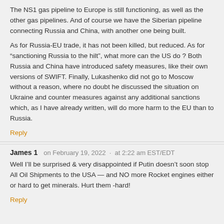The NS1 gas pipeline to Europe is still functioning, as well as the other gas pipelines. And of course we have the Siberian pipeline connecting Russia and China, with another one being built.
As for Russia-EU trade, it has not been killed, but reduced. As for “sanctioning Russia to the hilt”, what more can the US do ? Both Russia and China have introduced safety measures, like their own versions of SWIFT. Finally, Lukashenko did not go to Moscow without a reason, where no doubt he discussed the situation on Ukraine and counter measures against any additional sanctions which, as I have already written, will do more harm to the EU than to Russia.
Reply
James 1   on February 19, 2022 · at 2:22 am EST/EDT
Well I’ll be surprised & very disappointed if Putin doesn’t soon stop All Oil Shipments to the USA — and NO more Rocket engines either or hard to get minerals. Hurt them -hard!
Reply